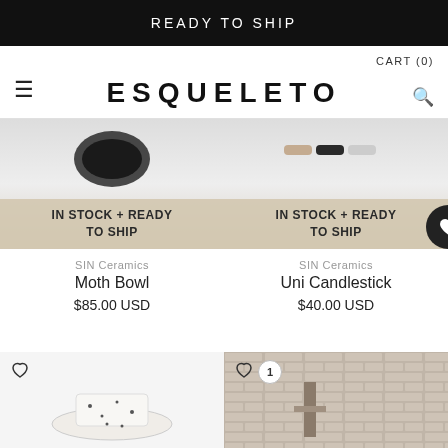READY TO SHIP
CART (0)
ESQUELETO
[Figure (photo): Product photo of Moth Bowl by SIN Ceramics with IN STOCK + READY TO SHIP badge]
SIN Ceramics
Moth Bowl
$85.00 USD
[Figure (photo): Product photo of Uni Candlestick by SIN Ceramics with IN STOCK + READY TO SHIP badge]
SIN Ceramics
Uni Candlestick
$40.00 USD
[Figure (photo): Bottom left product photo with heart/wishlist icon, showing a white ceramic bowl with dot pattern]
[Figure (photo): Bottom right product photo with heart/wishlist icon and badge number 1, showing a product against a brick wall background]